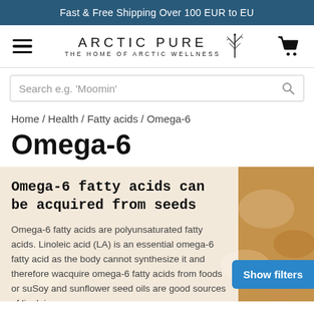Fast & Free Shipping Over 100 EUR to EU
[Figure (screenshot): Arctic Pure navigation bar with hamburger menu, logo 'ARCTIC PURE - THE HOME OF ARCTIC WELLNESS', plant/snowflake icon, and shopping cart icon]
Search e.g. 'Moomin'
Home / Health / Fatty acids / Omega-6
Omega-6
[Figure (photo): Hero image showing seeds and nuts with a semi-transparent white overlay containing article text about Omega-6 fatty acids]
Omega-6 fatty acids can be acquired from seeds
Omega-6 fatty acids are polyunsaturated fatty acids. Linoleic acid (LA) is an essential omega-6 fatty acid as the body cannot synthesize it and therefore w... acquire omega-6 fatty acids from foods or su... Soy and sunflower seed oils are good sources of linoleic